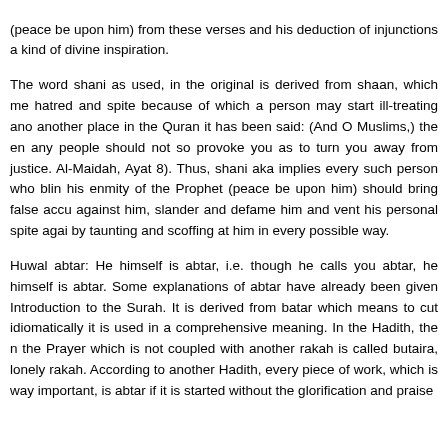(peace be upon him) from these verses and his deduction of injunctions a kind of divine inspiration. The word shani as used, in the original is derived from shaan, which me hatred and spite because of which a person may start ill-treating ano another place in the Quran it has been said: (And O Muslims,) the en any people should not so provoke you as to turn you away from justice. Al-Maidah, Ayat 8). Thus, shani aka implies every such person who blin his enmity of the Prophet (peace be upon him) should bring false accu against him, slander and defame him and vent his personal spite agai by taunting and scoffing at him in every possible way. Huwal abtar: He himself is abtar, i.e. though he calls you abtar, he himself is abtar. Some explanations of abtar have already been given Introduction to the Surah. It is derived from batar which means to cut idiomatically it is used in a comprehensive meaning. In the Hadith, the r the Prayer which is not coupled with another rakah is called butaira, lonely rakah. According to another Hadith, every piece of work, which is way important, is abtar if it is started without the glorification and praise